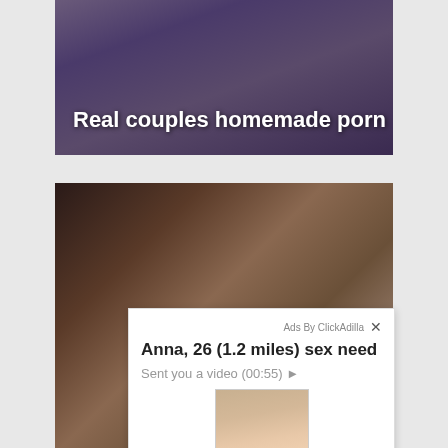[Figure (photo): Adult content thumbnail with text overlay reading 'Real couples homemade porn']
[Figure (photo): Adult content thumbnail (bottom image)]
Ads By ClickAdilla
Anna, 26 (1.2 miles) sex need
Sent you a video (00:55) ▶
[Figure (photo): Small thumbnail image of a person in the ad overlay]